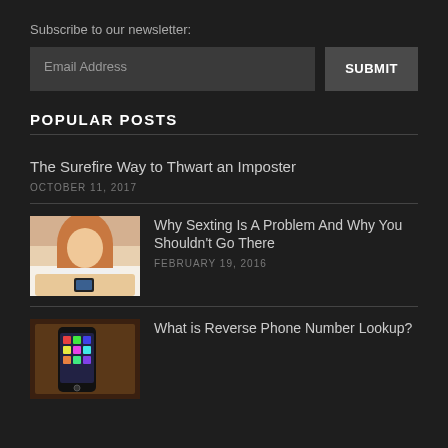Subscribe to our newsletter:
Email Address | SUBMIT
POPULAR POSTS
The Surefire Way to Thwart an Imposter
OCTOBER 11, 2017
[Figure (photo): Woman lying down looking at phone]
Why Sexting Is A Problem And Why You Shouldn't Go There
FEBRUARY 19, 2016
[Figure (photo): Smartphone with colorful apps on wooden surface]
What is Reverse Phone Number Lookup?